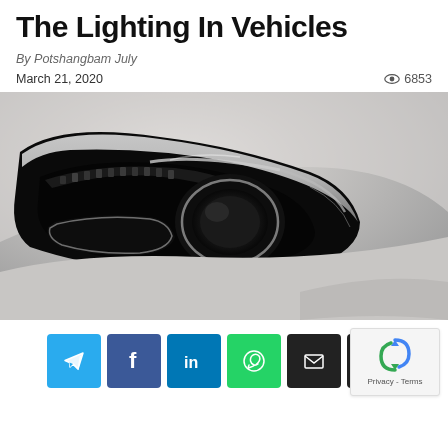The Lighting In Vehicles
By Potshangbam July
March 21, 2020  👁 6853
[Figure (photo): Close-up photo of a modern car LED headlight assembly on a silver/white vehicle, showing intricate black housing with LED daytime running lights and projector lens]
[Figure (other): Social sharing buttons: Telegram (blue), Facebook (dark blue), LinkedIn (blue), WhatsApp (green), Email (black), Print (black); with a reCAPTCHA widget in the top-right corner]